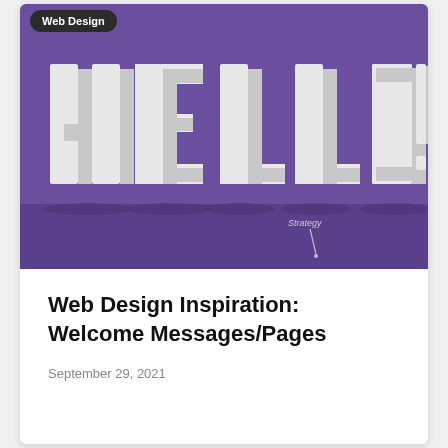[Figure (illustration): Purple background with large 3D white block letters spelling HELLO! with slight shadow/depth effect and a small 'Strategy' text with a curved arrow in the lower right area]
Web Design Inspiration: Welcome Messages/Pages
September 29, 2021